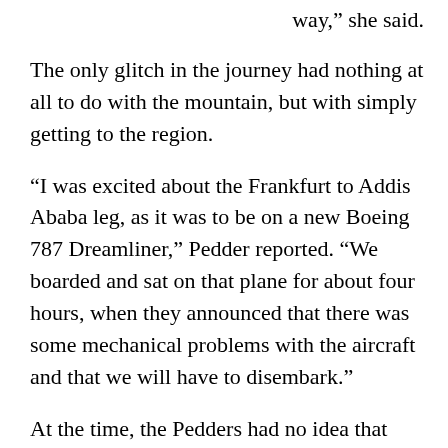way,” she said.
The only glitch in the journey had nothing at all to do with the mountain, but with simply getting to the region.
“I was excited about the Frankfurt to Addis Ababa leg, as it was to be on a new Boeing 787 Dreamliner,” Pedder reported. “We boarded and sat on that plane for about four hours, when they announced that there was some mechanical problems with the aircraft and that we will have to disembark.”
At the time, the Pedders had no idea that